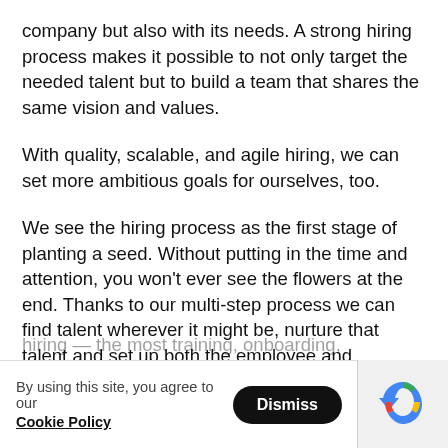company but also with its needs. A strong hiring process makes it possible to not only target the needed talent but to build a team that shares the same vision and values.
With quality, scalable, and agile hiring, we can set more ambitious goals for ourselves, too.
We see the hiring process as the first stage of planting a seed. Without putting in the time and attention, you won't ever see the flowers at the end. Thanks to our multi-step process we can find talent wherever it might be, nurture that talent and set up both the employee and employer for longer-term success. We want people to choose to stay with Fidel for a long time, too - that's why we invest in each of our people from day one of hiring...
By using this site, you agree to our Cookie Policy  [Dismiss]